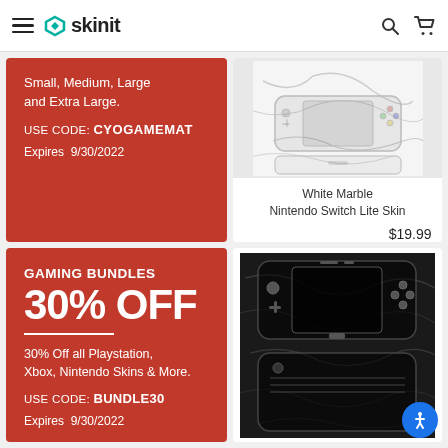skinit
Small, Medium, Large and Extra Large.
USE CODE: CYOGAMEMAT
Expires 9/30/2022
[Figure (photo): White marble texture skin for Nintendo Switch Lite, showing the device front and back panels]
White Marble Nintendo Switch Lite Skin $19.99
GAMING BUNDLES 30% OFF
30% Off all Playstation, Xbox, Nintendo Skins & More.
USE CODE: BUNDLE30
Expires 9/30/2022
[Figure (photo): Black marble texture skin for Nintendo Switch Lite, showing front and back panels of the device]